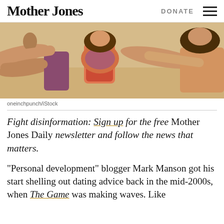Mother Jones | DONATE
[Figure (photo): Photo of young people outdoors reaching toward each other, warm sunny background, credit: oneinchpunch/iStock]
oneinchpunch/iStock
Fight disinformation: Sign up for the free Mother Jones Daily newsletter and follow the news that matters.
“Personal development” blogger Mark Manson got his start shelling out dating advice back in the mid-2000s, when The Game was making waves. Like